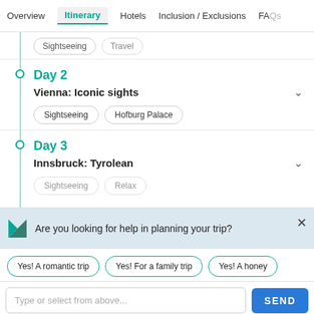Overview  Itinerary  Hotels  Inclusion / Exclusions  FAQs
Day 2
Vienna: Iconic sights
Sightseeing
Hofburg Palace
Day 3
Innsbruck: Tyrolean
Sightseeing
Relax
Are you looking for help in planning your trip?
Yes! A romantic trip
Yes! For a family trip
Yes! A honey...
Type or select from above...